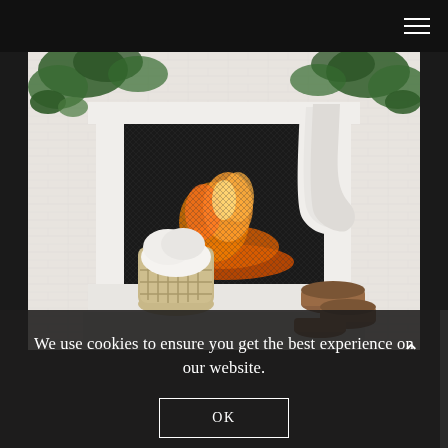[Figure (photo): A white brick fireplace decorated for Christmas with green garland, hanging knit stockings, a wicker basket with a white knit blanket, and stacked firewood logs on the hearth. A fire is burning inside.]
We use cookies to ensure you get the best experience on our website.
OK